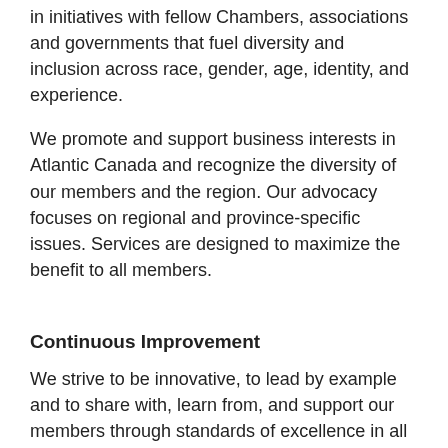in initiatives with fellow Chambers, associations and governments that fuel diversity and inclusion across race, gender, age, identity, and experience.
We promote and support business interests in Atlantic Canada and recognize the diversity of our members and the region. Our advocacy focuses on regional and province-specific issues. Services are designed to maximize the benefit to all members.
Continuous Improvement
We strive to be innovative, to lead by example and to share with, learn from, and support our members through standards of excellence in all areas of the chamber business.
Principled and Accountable
We make decisions based on evidence and always with the benefit to the regional business community in mind. We are accountable to our members and communicate our